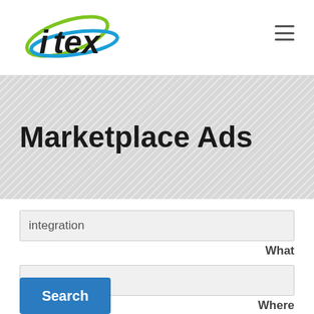[Figure (logo): ITEX logo with green swoosh and blue swoosh around italic lowercase text 'itex']
Marketplace Ads
integration
What
Where
Search